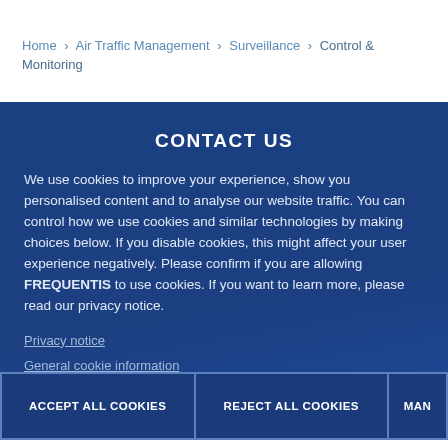Home > Air Traffic Management > Surveillance > Control & Monitoring
CONTACT US
We use cookies to improve your experience, show you personalised content and to analyse our website traffic. You can control how we use cookies and similar technologies by making choices below. If you disable cookies, this might affect your user experience negatively. Please confirm if you are allowing FREQUENTIS to use cookies. If you want to learn more, please read our privacy notice.
Privacy notice
General cookie information
ACCEPT ALL COOKIES
REJECT ALL COOKIES
MAN